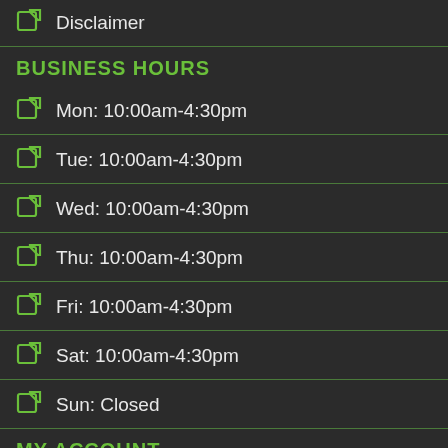Disclaimer
BUSINESS HOURS
Mon: 10:00am-4:30pm
Tue: 10:00am-4:30pm
Wed: 10:00am-4:30pm
Thu: 10:00am-4:30pm
Fri: 10:00am-4:30pm
Sat: 10:00am-4:30pm
Sun: Closed
MY ACCOUNT
My Orders